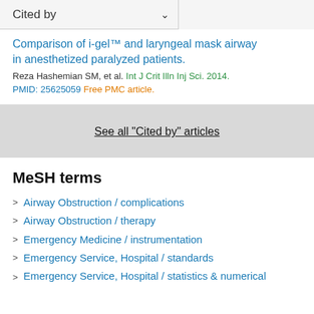Cited by
Comparison of i-gel™ and laryngeal mask airway in anesthetized paralyzed patients.
Reza Hashemian SM, et al. Int J Crit Illn Inj Sci. 2014.
PMID: 25625059 Free PMC article.
See all "Cited by" articles
MeSH terms
Airway Obstruction / complications
Airway Obstruction / therapy
Emergency Medicine / instrumentation
Emergency Service, Hospital / standards
Emergency Service, Hospital / statistics & numerical